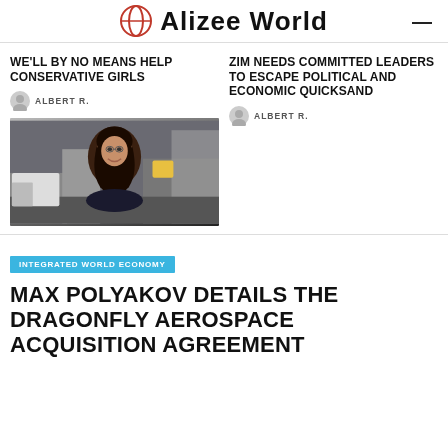Alizee World
WE'LL BY NO MEANS HELP CONSERVATIVE GIRLS
ALBERT R.
[Figure (photo): Portrait photo of a woman with dark curly hair smiling, city street background]
ZIM NEEDS COMMITTED LEADERS TO ESCAPE POLITICAL AND ECONOMIC QUICKSAND
ALBERT R.
INTEGRATED WORLD ECONOMY
MAX POLYAKOV DETAILS THE DRAGONFLY AEROSPACE ACQUISITION AGREEMENT